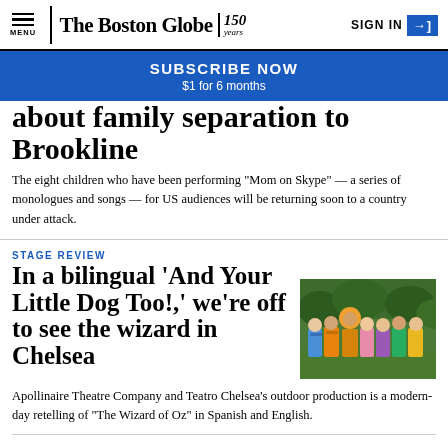The Boston Globe / 150 years — SIGN IN
SUBSCRIBE NOW $1 for 6 months
about family separation to Brookline
The eight children who have been performing "Mom on Skype" — a series of monologues and songs — for US audiences will be returning soon to a country under attack.
STAGE REVIEW
In a bilingual 'And Your Little Dog Too!,' we're off to see the wizard in Chelsea
[Figure (photo): Group of children in colorful costumes on a stage outdoors]
Apollinaire Theatre Company and Teatro Chelsea's outdoor production is a modern-day retelling of "The Wizard of Oz" in Spanish and English.